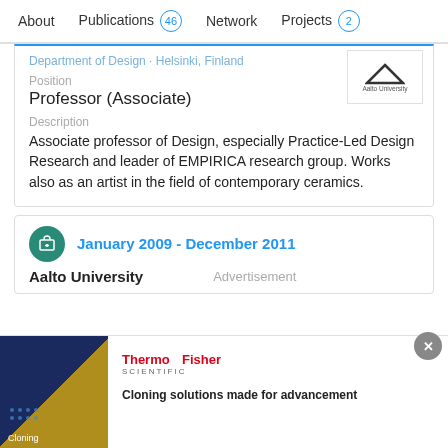About | Publications 46 | Network | Projects 2
Department of Design · Helsinki, Finland
Position
Professor (Associate)
Description
Associate professor of Design, especially Practice-Led Design Research and leader of EMPIRICA research group. Works also as an artist in the field of contemporary ceramics.
January 2009 - December 2011
Aalto University
Advertisement
Cloning solutions made for advancement